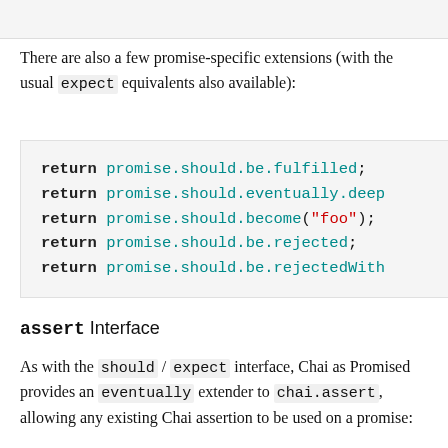[Figure (screenshot): Top bar snippet of code showing partially visible text]
There are also a few promise-specific extensions (with the usual expect equivalents also available):
[Figure (screenshot): Code block showing five lines: return promise.should.be.fulfilled; return promise.should.eventually.deep... return promise.should.become("foo"); return promise.should.be.rejected; return promise.should.be.rejectedWith...]
assert Interface
As with the should / expect interface, Chai as Promised provides an eventually extender to chai.assert, allowing any existing Chai assertion to be used on a promise: